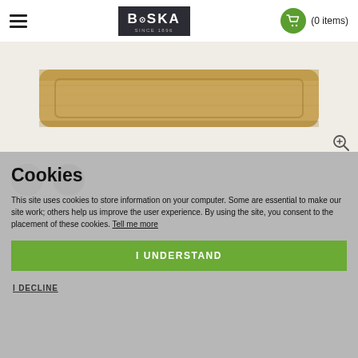≡  BOSKA  (0 items)
[Figure (photo): A wooden cheese board/serving board with rounded corners on a light background, partially visible. A zoom magnifier icon is in the bottom-right corner of the image area.]
Cookies
This site uses cookies to store information on your computer. Some are essential to make our site work; others help us improve the user experience. By using the site, you consent to the placement of these cookies. Tell me more
I UNDERSTAND
I DECLINE